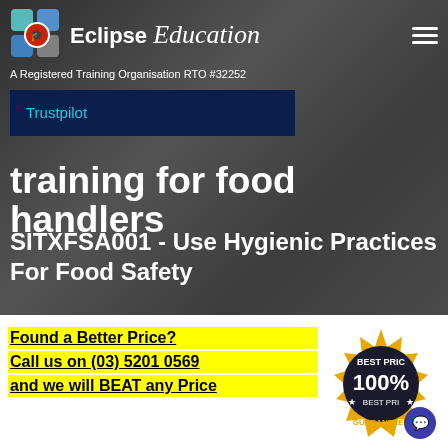[Figure (logo): Eclipse Education logo with colorful squares icon and stylized text]
A Registered Training Organisation RTO #32252
Trustpilot
training for food handlers
SITXFSA001 - Use Hygienic Practices For Food Safety
Found a Better Price?
Call us on (03) 5201 0569
and we will BEAT any Price
[Figure (illustration): Best Price 100% Guaranteed badge/seal in gold and dark colors]